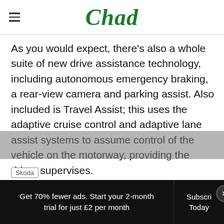Chad
As you would expect, there's also a whole suite of new drive assistance technology, including autonomous emergency braking, a rear-view camera and parking assist. Also included is Travel Assist; this uses the adaptive cruise control and adaptive lane assist systems to assume control of the vehicle on the motorway, providing the driver supervises.
Skoda
Get 70% fewer ads. Start your 2-month trial for just £2 per month
Subscribe Today